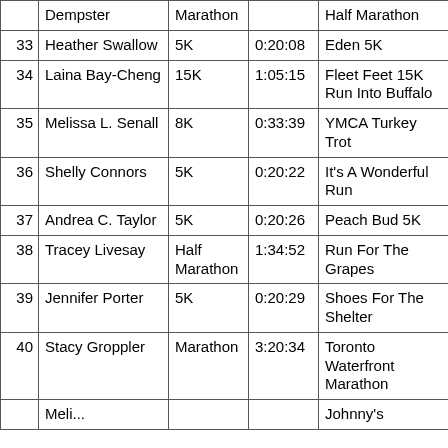| # | Name | Distance | Time | Race | Date |
| --- | --- | --- | --- | --- | --- |
|  | Dempster | Marathon |  | Half Marathon |  |
| 33 | Heather Swallow | 5K | 0:20:08 | Eden 5K | 8/17/2010 |
| 34 | Laina Bay-Cheng | 15K | 1:05:15 | Fleet Feet 15K Run Into Buffalo | 9/6/2010 |
| 35 | Melissa L. Senall | 8K | 0:33:39 | YMCA Turkey Trot | 11/25/2010 |
| 36 | Shelly Connors | 5K | 0:20:22 | It's A Wonderful Run | 12/11/2010 |
| 37 | Andrea C. Taylor | 5K | 0:20:26 | Peach Bud 5K | 6/29/2010 |
| 38 | Tracey Livesay | Half Marathon | 1:34:52 | Run For The Grapes | 9/19/2010 |
| 39 | Jennifer Porter | 5K | 0:20:29 | Shoes For The Shelter | 4/18/2010 |
| 40 | Stacy Groppler | Marathon | 3:20:34 | Toronto Waterfront Marathon | 9/26/2010 |
|  | Meli... |  |  | Johnny's |  |